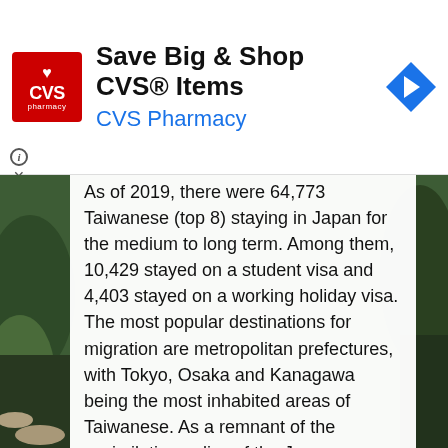[Figure (other): CVS Pharmacy advertisement banner with logo, headline 'Save Big & Shop CVS® Items', subtext 'CVS Pharmacy', and navigation arrow icon]
As of 2019, there were 64,773 Taiwanese (top 8) staying in Japan for the medium to long term. Among them, 10,429 stayed on a student visa and 4,403 stayed on a working holiday visa. The most popular destinations for migration are metropolitan prefectures, with Tokyo, Osaka and Kanagawa being the most inhabited areas of Taiwanese. As a remnant of the assimilation policy of the Japanese colonial era, many people study Japanese in Taiwan, and 47 out of 159 universities in Taiwan (about 30%) have Japanese language departments. Many Taiwanise can speak Japanese and that is